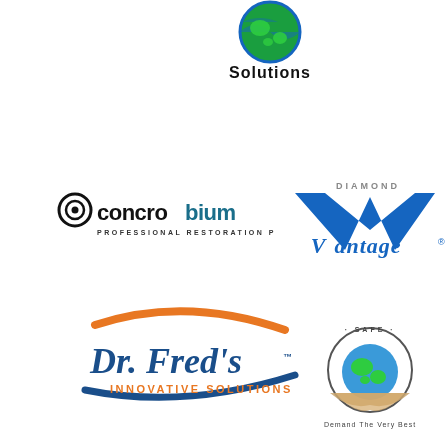[Figure (logo): Globe with Solutions text below - green and blue globe logo with bold text 'Solutions']
[Figure (logo): Concrobium Professional Restoration Products logo - black and dark text with circular target icon]
[Figure (logo): Diamond Vantage logo - blue stylized V with Diamond text above and Vantage in script]
[Figure (logo): Dr. Fred's Innovative Solutions logo - blue and orange swoosh with script and sans-serif text]
[Figure (logo): EnviroSafe or similar globe/environment logo - circular badge with globe held by hands, text around border and below]